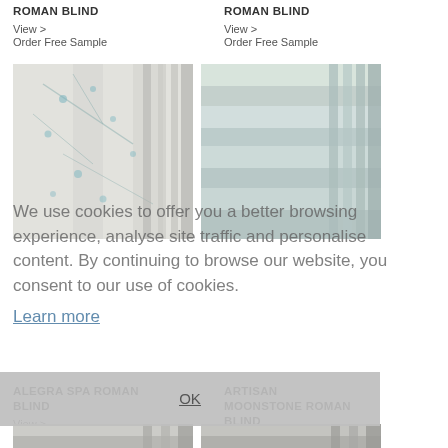ROMAN BLIND
View >
Order Free Sample
ROMAN BLIND
View >
Order Free Sample
[Figure (photo): Folded roman blind fabric with floral blue and grey pattern (Alegra Spa)]
[Figure (photo): Folded roman blind fabric in pale green/grey solid (Artisan Moonstone)]
ALEGRA SPA ROMAN BLIND
View >
Order Free Sample
ARTISAN MOONSTONE ROMAN BLIND
View >
Order Free Sample
We use cookies to offer you a better browsing experience, analyse site traffic and personalise content. By continuing to browse our website, you consent to our use of cookies.
Learn more
OK
[Figure (photo): Partial view of folded roman blind fabric, grey/neutral tone (bottom left)]
[Figure (photo): Partial view of folded roman blind fabric, grey/neutral tone (bottom right)]